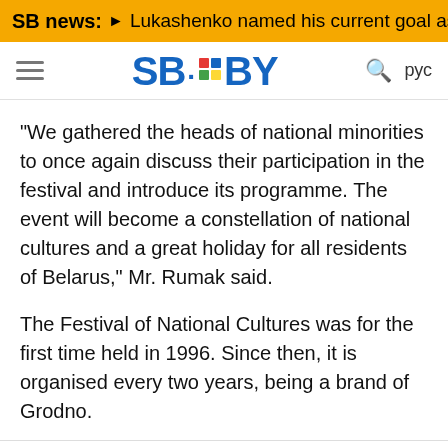SB news: ▶ Lukashenko named his current goal as Pre
[Figure (logo): SB.BY logo with hamburger menu, search icon, and language toggle (рус)]
"We gathered the heads of national minorities to once again discuss their participation in the festival and introduce its programme. The event will become a constellation of national cultures and a great holiday for all residents of Belarus," Mr. Rumak said.
The Festival of National Cultures was for the first time held in 1996. Since then, it is organised every two years, being a brand of Grodno.
CULTURE
RUMAK
GRODNO
FESTIVAL
[Figure (illustration): Social media sharing icons: VK (blue), Odnoklassniki (orange), Twitter (light blue), Viber (purple), WhatsApp (green), Telegram (blue)]